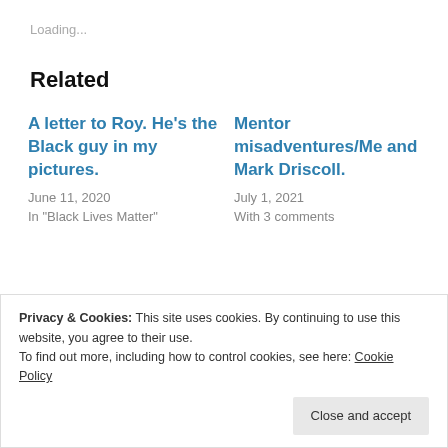Loading...
Related
A letter to Roy. He’s the Black guy in my pictures.
June 11, 2020
In "Black Lives Matter"
Mentor misadventures/Me and Mark Driscoll.
July 1, 2021
With 3 comments
Privacy & Cookies: This site uses cookies. By continuing to use this website, you agree to their use.
To find out more, including how to control cookies, see here: Cookie Policy
Close and accept